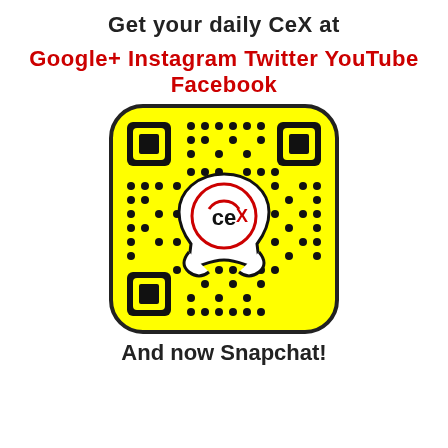Get your daily CeX at
Google+ Instagram Twitter YouTube Facebook
[Figure (other): Snapchat QR code with CeX logo (ghost mascot on yellow rounded square background with dot pattern)]
And now Snapchat!